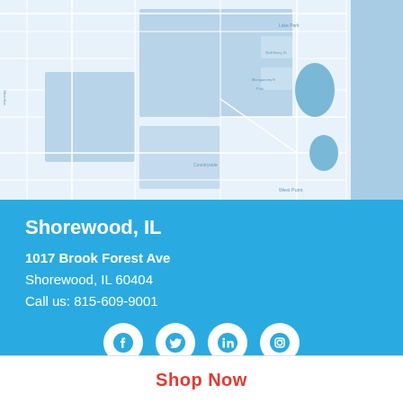[Figure (map): Street/area map of Shorewood, IL region showing roads, water bodies, and land areas in light blue tones]
Shorewood, IL
1017 Brook Forest Ave
Shorewood, IL 60404
Call us: 815-609-9001
[Figure (infographic): Social media icons row: Facebook, Twitter, LinkedIn, Instagram — white circles on blue background]
Shop Now